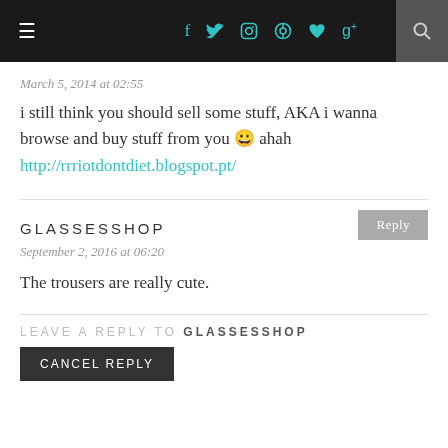Navigation bar with hamburger menu, social icons (facebook, twitter, instagram, pinterest, heart, google+), and search button
March 5, 2014 at 02:55
i still think you should sell some stuff, AKA i wanna browse and buy stuff from you 😀 ahah
http://rrriotdontdiet.blogspot.pt/
GLASSESSHOP
September 2, 2016 at 06:20
The trousers are really cute.
LEAVE A REPLY TO GLASSESSHOP
CANCEL REPLY